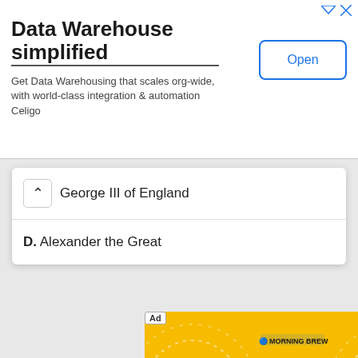[Figure (screenshot): Top advertisement banner: 'Data Warehouse simplified' with Open button]
Data Warehouse simplified
Get Data Warehousing that scales org-wide, with world-class integration & automation Celigo
George III of England
D. Alexander the Great
[Figure (screenshot): Morning Brew 'Business Casual' podcast advertisement banner with yellow background, paper airplane graphics, and 'Listen Now' button]
PODCAST: The Easy Money Era is Over
mowPod   Listen Now